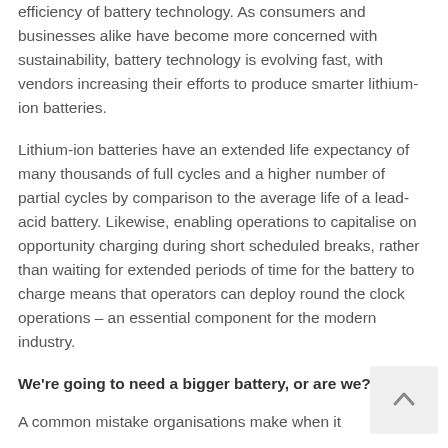efficiency of battery technology. As consumers and businesses alike have become more concerned with sustainability, battery technology is evolving fast, with vendors increasing their efforts to produce smarter lithium-ion batteries.
Lithium-ion batteries have an extended life expectancy of many thousands of full cycles and a higher number of partial cycles by comparison to the average life of a lead-acid battery. Likewise, enabling operations to capitalise on opportunity charging during short scheduled breaks, rather than waiting for extended periods of time for the battery to charge means that operators can deploy round the clock operations – an essential component for the modern industry.
We're going to need a bigger battery, or are we?
A common mistake organisations make when it